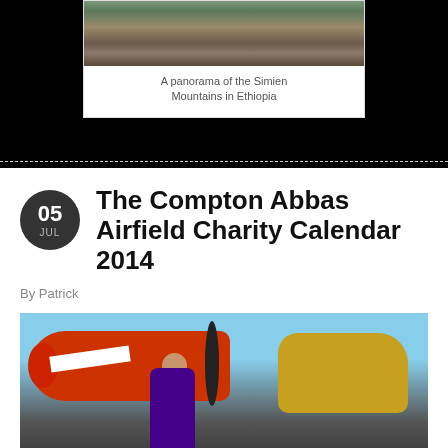[Figure (photo): Partial view of a mountain photo - A panorama of the Simien Mountains in Ethiopia]
A panorama of the Simien Mountains in Ethiopia
The Compton Abbas Airfield Charity Calendar 2014
By Patrick
[Figure (photo): A woman in a purple wartime outfit posing near a red and white airplane with a yellow biplane in the background]
2014's calendar has a 1940s wartime theme and aims to capture a series of narratives from the